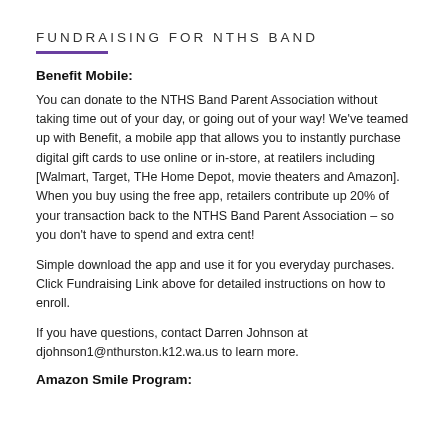FUNDRAISING FOR NTHS BAND
Benefit Mobile:
You can donate to the NTHS Band Parent Association without taking time out of your day, or going out of your way! We've teamed up with Benefit, a mobile app that allows you to instantly purchase digital gift cards to use online or in-store, at reatilers including [Walmart, Target, THe Home Depot, movie theaters and Amazon]. When you buy using the free app, retailers contribute up 20% of your transaction back to the NTHS Band Parent Association – so you don't have to spend and extra cent!
Simple download the app and use it for you everyday purchases. Click Fundraising Link above for detailed instructions on how to enroll.
If you have questions, contact Darren Johnson at djohnson1@nthurston.k12.wa.us to learn more.
Amazon Smile Program: